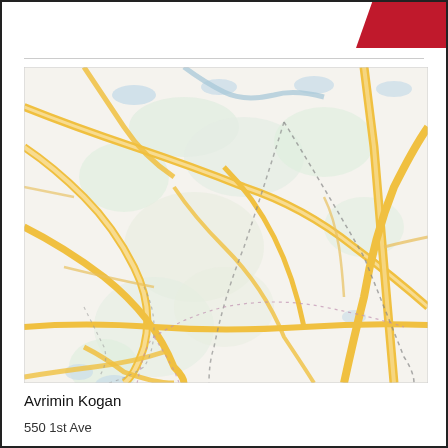[Figure (map): Street/road map showing suburban area with yellow major roads, light green regions, blue water features, and dotted boundary lines. Area appears to be a region near a city with multiple arterial roads intersecting.]
Avrimin Kogan
550 1st Ave